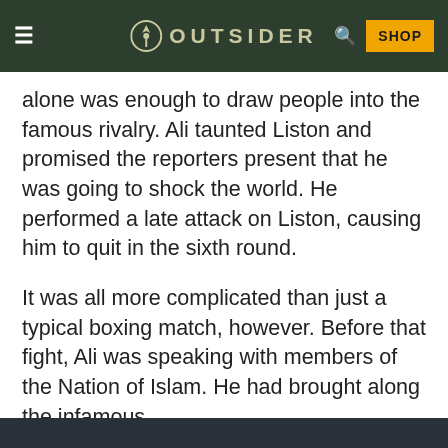OUTSIDER
alone was enough to draw people into the famous rivalry. Ali taunted Liston and promised the reporters present that he was going to shock the world. He performed a late attack on Liston, causing him to quit in the sixth round.
It was all more complicated than just a typical boxing match, however. Before that fight, Ali was speaking with members of the Nation of Islam. He had brought along the infamous